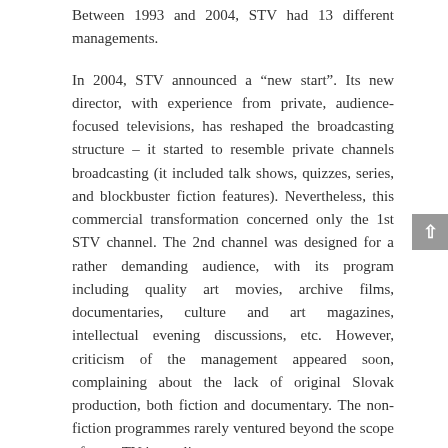Between 1993 and 2004, STV had 13 different managements.
In 2004, STV announced a “new start”. Its new director, with experience from private, audience-focused televisions, has reshaped the broadcasting structure – it started to resemble private channels broadcasting (it included talk shows, quizzes, series, and blockbuster fiction features). Nevertheless, this commercial transformation concerned only the 1st STV channel. The 2nd channel was designed for a rather demanding audience, with its program including quality art movies, archive films, documentaries, culture and art magazines, intellectual evening discussions, etc. However, criticism of the management appeared soon, complaining about the lack of original Slovak production, both fiction and documentary. The non-fiction programmes rarely ventured beyond the scope of mere TV journalism.
During the 1990s, the cable television network covered the larger Slovak cities; the rest of the concessionaires could take advantage of the satellite broadcasting, later of the IPTV. The digitalisation of TV broadcasting is still in